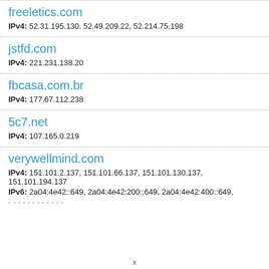freeletics.com
IPv4: 52.31.195.130, 52.49.209.22, 52.214.75.198
jstfd.com
IPv4: 221.231.138.20
fbcasa.com.br
IPv4: 177.67.112.238
5c7.net
IPv4: 107.165.0.219
verywellmind.com
IPv4: 151.101.2.137, 151.101.66.137, 151.101.130.137, 151.101.194.137
IPv6: 2a04:4e42::649, 2a04:4e42:200::649, 2a04:4e42:400::649,
x